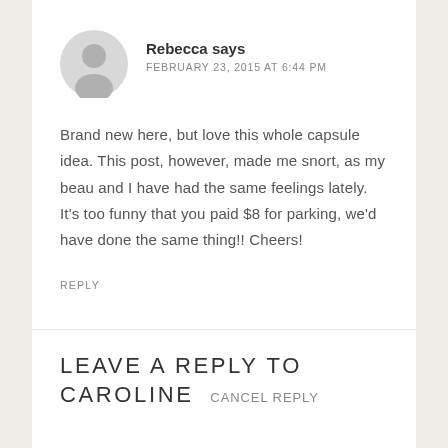[Figure (illustration): Circular avatar placeholder with a silhouette of a person, light gray background]
Rebecca says
FEBRUARY 23, 2015 AT 6:44 PM
Brand new here, but love this whole capsule idea. This post, however, made me snort, as my beau and I have had the same feelings lately. It's too funny that you paid $8 for parking, we'd have done the same thing!! Cheers!
REPLY
LEAVE A REPLY TO CAROLINE CANCEL REPLY